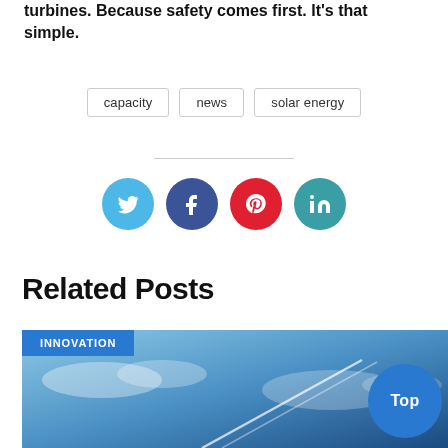turbines. Because safety comes first. It's that simple.
capacity
news
solar energy
[Figure (infographic): Social media share buttons: Twitter (light blue), Facebook (dark blue), Pinterest (red), LinkedIn (teal)]
Related Posts
[Figure (photo): Blue sky with clouds and airplane contrail, tagged INNOVATION]